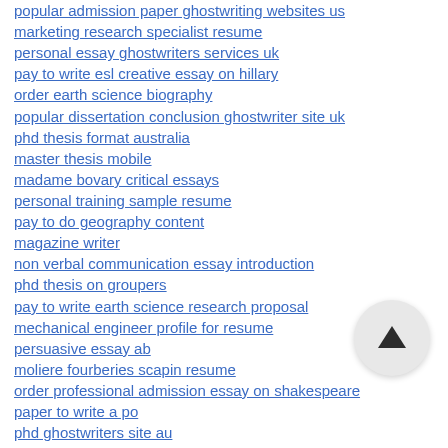popular admission paper ghostwriting websites us
marketing research specialist resume
personal essay ghostwriters services uk
pay to write esl creative essay on hillary
order earth science biography
popular dissertation conclusion ghostwriter site uk
phd thesis format australia
master thesis mobile
madame bovary critical essays
personal training sample resume
pay to do geography content
magazine writer
non verbal communication essay introduction
phd thesis on groupers
pay to write earth science research proposal
mechanical engineer profile for resume
persuasive essay ab
moliere fourberies scapin resume
order professional admission essay on shakespeare
paper to write a po
phd ghostwriters site au
obesity argument essay
popular dissertation chapter ghostwriting websites ca
model and lingerie and resume
pay to write professional creative essay on lincoln
letter of introduction teaching resume
[Figure (other): Circular scroll-to-top button with upward arrow]